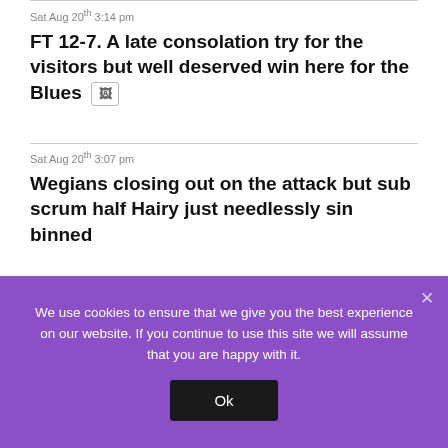Sat Aug 20th 3:14 pm
FT 12-7. A late consolation try for the visitors but well deserved win here for the Blues [image icon]
Sat Aug 20th 3:07 pm
Wegians closing out on the attack but sub scrum half Hairy just needlessly sin binned
We use cookies to ensure that we give you the best experience on our website. If you continue to use this site we will assume that you are happy with it.